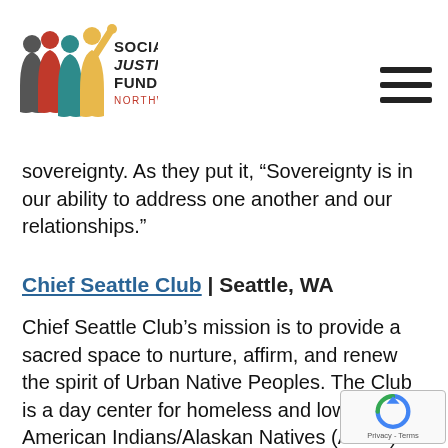Social Justice Fund Northwest
sovereignty. As they put it, “Sovereignty is in our ability to address one another and our relationships.”
Chief Seattle Club | Seattle, WA
Chief Seattle Club’s mission is to provide a sacred space to nurture, affirm, and renew the spirit of Urban Native Peoples. The Club is a day center for homeless and low-income American Indians/Alaskan Natives (AI/AN) providing 2,352 members a year with basic needs; food; health care; mental health; legal assistance; housing assistance; access to benefits; cultural, art and spiritual activities. They are requesting support